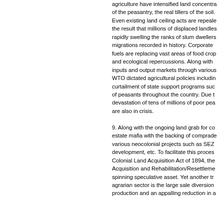agriculture have intensified land concentration of the peasantry, the real tillers of the soil. Even existing land ceiling acts are repealed with the result that millions of displaced landless are rapidly swelling the ranks of slum dwellers in migrations recorded in history. Corporate fuels are replacing vast areas of food crops with and ecological repercussions. Along with inputs and output markets through various WTO dictated agricultural policies including curtailment of state support programs such as of peasants throughout the country. Due to devastation of tens of millions of poor peasants are also in crisis.
9. Along with the ongoing land grab for corporate estate mafia with the backing of comprador various neocolonial projects such as SEZ development, etc. To facilitate this process Colonial Land Acquisition Act of 1894, the Acquisition and Rehabilitation/Resettlement spinning speculative asset. Yet another trend in agrarian sector is the large scale diversion production and an appalling reduction in a